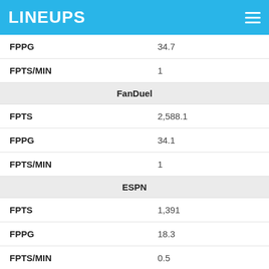LINEUPS
| Stat | Value |
| --- | --- |
| FPPG | 34.7 |
| FPTS/MIN | 1 |
| FanDuel |  |
| FPTS | 2,588.1 |
| FPPG | 34.1 |
| FPTS/MIN | 1 |
| ESPN |  |
| FPTS | 1,391 |
| FPPG | 18.3 |
| FPTS/MIN | 0.5 |
| NBA.com |  |
| FPTS | 2,588.1 |
| FPPG | 34.1 |